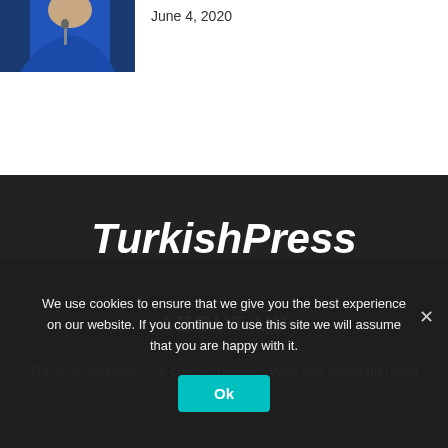[Figure (photo): Person in blue jacket at a microphone, partially visible]
June 4, 2020
TurkishPress
ABOUT US
TurkishPress.com is a comprehensive Web site featuring news
We use cookies to ensure that we give you the best experience on our website. If you continue to use this site we will assume that you are happy with it.
Ok